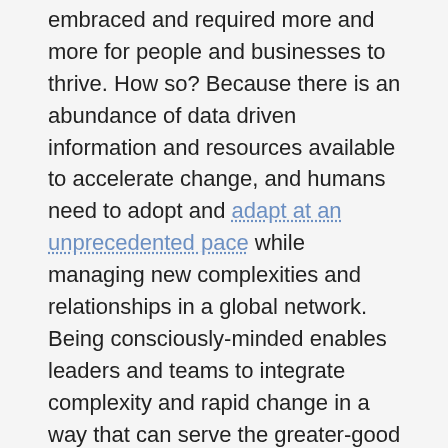embraced and required more and more for people and businesses to thrive. How so? Because there is an abundance of data driven information and resources available to accelerate change, and humans need to adopt and adapt at an unprecedented pace while managing new complexities and relationships in a global network. Being consciously-minded enables leaders and teams to integrate complexity and rapid change in a way that can serve the greater-good and the bottom-line.
We have witnessed and are now experiencing the back-lash, divide and polarities that bring about change and evolution. It’s painful and turbulent; and yet, I believe good will succeed when our leaders and organizations act in conscious ways. Call it a wake-up call – whatever you want, but our civil liberties,